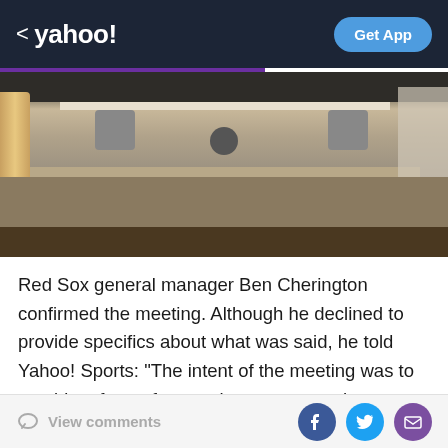< yahoo! | Get App
[Figure (photo): Indoor locker room or equipment room photo showing ceiling with fans, horizontal bar, curtains, and wooden shelving]
Red Sox general manager Ben Cherington confirmed the meeting. Although he declined to provide specifics about what was said, he told Yahoo! Sports: "The intent of the meeting was to provide a forum for people to express whatever frustration needed to be expressed at a time during the season when things were not going exactly the way we wanted to on the field in hopes that we could put whatever issues were there aside and focus on playing games the rest of the season. That was the intent
View comments